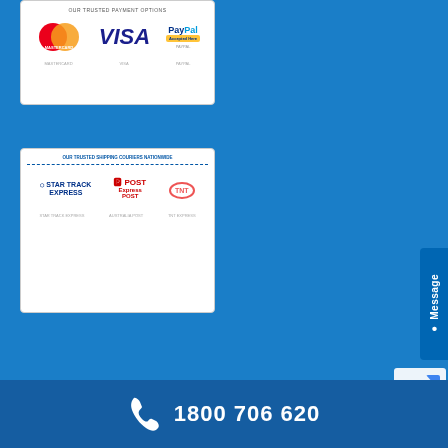[Figure (screenshot): Payment methods card showing MasterCard, VISA, and PayPal logos on a white card background]
[Figure (screenshot): Shipping couriers card showing Star Track Express, Australia Post Express Post, and TNT logos on white card with blue header text 'OUR TRUSTED SHIPPING COURIERS NATIONWIDE']
[Figure (screenshot): Message tab button on the right side, vertical text reading 'Message' with a white dot indicator]
© 2022 Capital Machinery Sales. All rights reserved. ABN 18256962254
1800 706 620